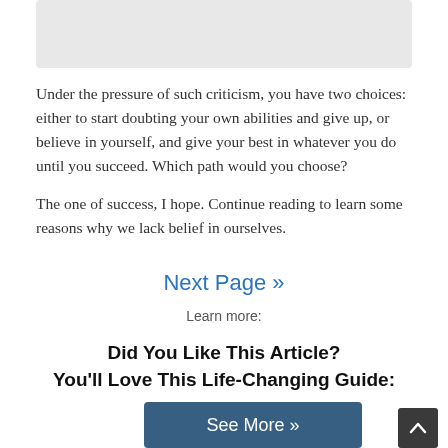[Figure (other): Gray rectangular placeholder box at the top of the page]
Under the pressure of such criticism, you have two choices: either to start doubting your own abilities and give up, or believe in yourself, and give your best in whatever you do until you succeed. Which path would you choose?

The one of success, I hope. Continue reading to learn some reasons why we lack belief in ourselves.
Next Page »
Learn more:
Did You Like This Article?
You'll Love This Life-Changing Guide:
See More »